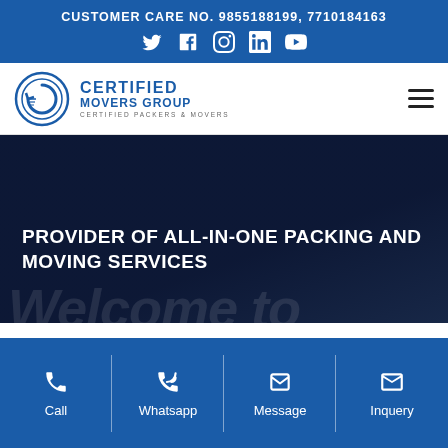CUSTOMER CARE NO. 9855188199, 7710184163
[Figure (logo): Certified Movers Group logo — circular emblem with arrow icon and company name]
PROVIDER OF ALL-IN-ONE PACKING AND MOVING SERVICES
Call
Whatsapp
Message
Inquery